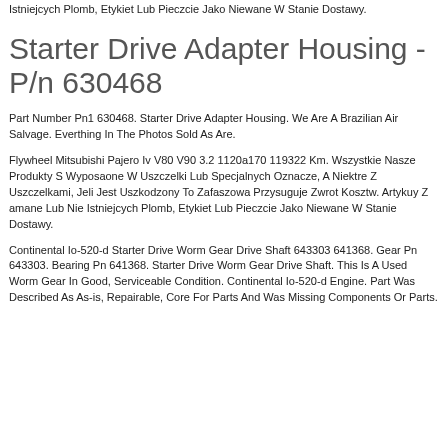Istniejcych Plomb, Etykiet Lub Pieczcie Jako Niewane W Stanie Dostawy.
Starter Drive Adapter Housing - P/n 630468
Part Number Pn1 630468. Starter Drive Adapter Housing. We Are A Brazilian Air Salvage. Everthing In The Photos Sold As Are.
Flywheel Mitsubishi Pajero Iv V80 V90 3.2 1120a170 119322 Km. Wszystkie Nasze Produkty S Wyposaone W Uszczelki Lub Specjalnych Oznacze, A Niektre Z Uszczelkami, Jeli Jest Uszkodzony To Zafaszowa Przysuguje Zwrot Kosztw. Artykuy Z amane Lub Nie Istniejcych Plomb, Etykiet Lub Pieczcie Jako Niewane W Stanie Dostawy.
Continental Io-520-d Starter Drive Worm Gear Drive Shaft 643303 641368. Gear Pn 643303. Bearing Pn 641368. Starter Drive Worm Gear Drive Shaft. This Is A Used Worm Gear In Good, Serviceable Condition. Continental Io-520-d Engine. Part Was Described As As-is, Repairable, Core For Parts And Was Missing Components Or Parts.